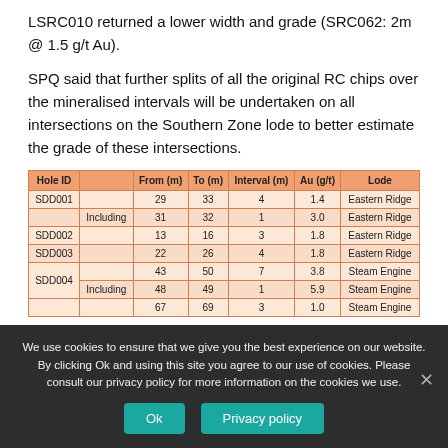LSRC010 returned a lower width and grade (SRC062: 2m @ 1.5 g/t Au).
SPQ said that further splits of all the original RC chips over the mineralised intervals will be undertaken on all intersections on the Southern Zone lode to better estimate the grade of these intersections.
| Hole ID |  | From (m) | To (m) | Interval (m) | Au (g/t) | Lode |
| --- | --- | --- | --- | --- | --- | --- |
| SDD001 |  | 29 | 33 | 4 | 1.4 | Eastern Ridge |
|  | Including | 31 | 32 | 1 | 3.0 | Eastern Ridge |
| SDD002 |  | 13 | 16 | 3 | 1.8 | Eastern Ridge |
| SDD003 |  | 22 | 26 | 4 | 1.8 | Eastern Ridge |
| SDD004 |  | 43 | 50 | 7 | 3.8 | Steam Engine |
|  | Including | 48 | 49 | 1 | 5.9 | Steam Engine |
|  |  | 67 | 69 | 3 | 1.0 | Steam Engine |
We use cookies to ensure that we give you the best experience on our website. By clicking Ok and using this site you agree to our use of cookies. Please consult our privacy policy for more information on the cookies we use.